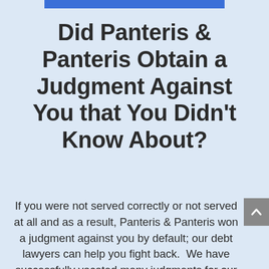Did Panteris & Panteris Obtain a Judgment Against You that You Didn't Know About?
If you were not served correctly or not served at all and as a result, Panteris & Panteris won a judgment against you by default; our debt lawyers can help you fight back.  We have successfully vacated many judgments for our clients and helped them save thousands of dollars that would have otherwise been seized by